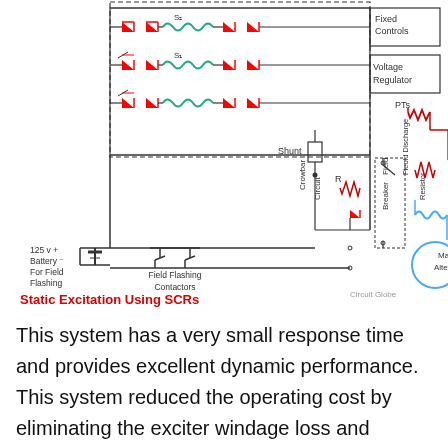[Figure (circuit-diagram): Static Excitation Using SCRs circuit diagram showing thyristor (SCR) bridge rectifier connected to field winding of Main Alternator, with Fixed Controls, Voltage Regulator, PTs (potential transformers), Shunt, Crowbar Circuit with resistor R and diode, Field Breaker, Field Discharge Resistor, and 125V Battery for Field Flashing with Field Flashing Contactors.]
Static Excitation Using SCRs
This system has a very small response time and provides excellent dynamic performance. This system reduced the operating cost by eliminating the exciter windage loss and winding maintenance.